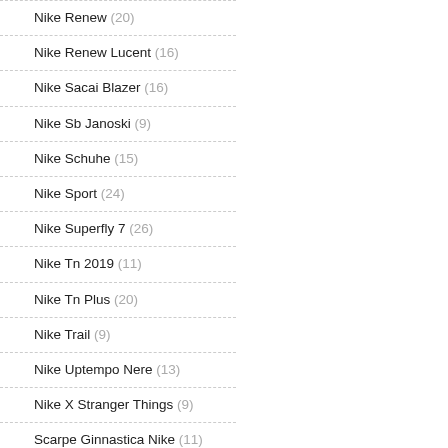Nike Renew (20)
Nike Renew Lucent (16)
Nike Sacai Blazer (16)
Nike Sb Janoski (9)
Nike Schuhe (15)
Nike Sport (24)
Nike Superfly 7 (26)
Nike Tn 2019 (11)
Nike Tn Plus (20)
Nike Trail (9)
Nike Uptempo Nere (13)
Nike X Stranger Things (9)
Scarpe Ginnastica Nike (11)
Scarpe Neonato Nike (2)
Scarpe Nere Nike (16)